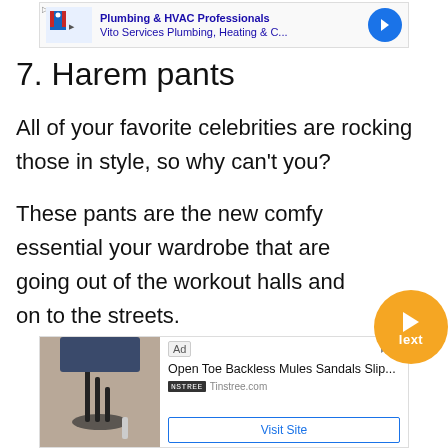[Figure (screenshot): Top advertisement banner for Vito Services Plumbing, Heating & C... with logo and arrow icon. Shows 'Plumbing & HVAC Professionals' text.]
7. Harem pants
All of your favorite celebrities are rocking those in style, so why can't you?
These pants are the new comfy essential your wardrobe that are going out of the workout halls and on to the streets.
[Figure (screenshot): Bottom advertisement for Open Toe Backless Mules Sandals Slip... from Tinstree.com with Visit Site button and image of heeled sandals.]